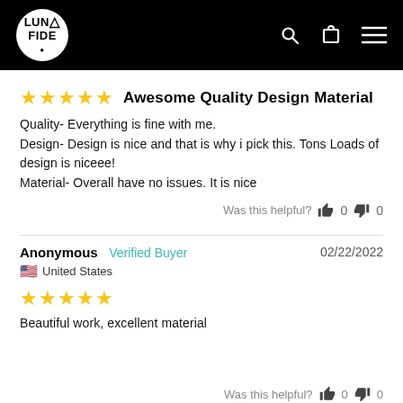LUNAFIDE — logo with search, cart, and menu icons
★★★★★ Awesome Quality Design Material
Quality- Everything is fine with me.
Design- Design is nice and that is why i pick this. Tons Loads of design is niceee!
Material- Overall have no issues. It is nice
Was this helpful? 👍 0 👎 0
Anonymous  Verified Buyer  02/22/2022
🇺🇸 United States
★★★★★
Beautiful work, excellent material
Was this helpful? 👍 0 👎 0